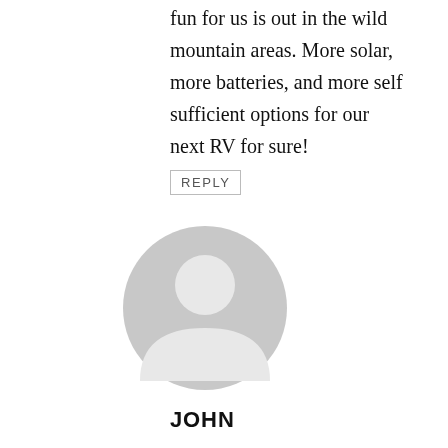fun for us is out in the wild mountain areas. More solar, more batteries, and more self sufficient options for our next RV for sure!
REPLY
[Figure (illustration): Generic user avatar icon — gray circle with silhouette of head and shoulders]
JOHN
Good info and update. I've been following you guys for about a year now, in fact you were the catalyst for my wife and I to finally purchase a motorhome (2003 Beaver Monterey) and having fun experiencing the RV lifestyle. I hope to retire within a couple years and then full